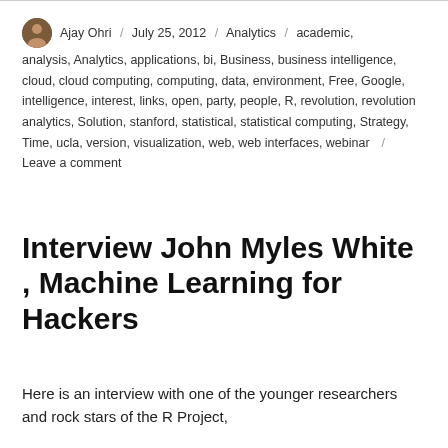Ajay Ohri / July 25, 2012 / Analytics / academic, analysis, Analytics, applications, bi, Business, business intelligence, cloud, cloud computing, computing, data, environment, Free, Google, intelligence, interest, links, open, party, people, R, revolution, revolution analytics, Solution, stanford, statistical, statistical computing, Strategy, Time, ucla, version, visualization, web, web interfaces, webinar / Leave a comment
Interview John Myles White , Machine Learning for Hackers
Here is an interview with one of the younger researchers  and rock stars of the R Project,